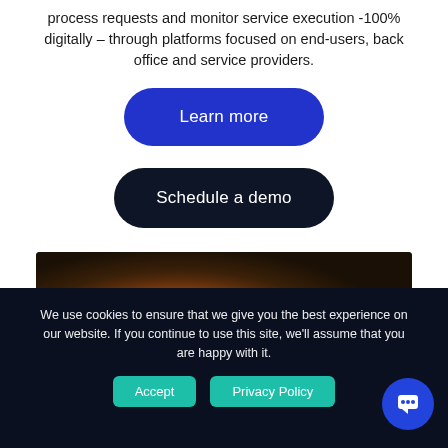process requests and monitor service execution -100% digitally – through platforms focused on end-users, back office and service providers.
Learn more
Schedule a demo
[Figure (photo): Dark brownish abstract background image with warm orange/amber light bokeh]
We use cookies to ensure that we give you the best experience on our website. If you continue to use this site, we'll assume that you are happy with it.
Accept
Privacy Policy